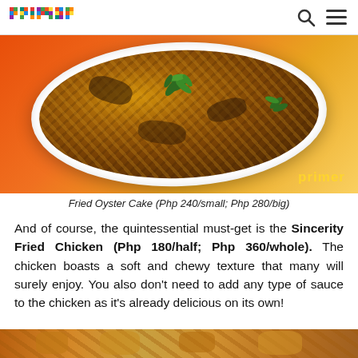primer
[Figure (photo): A baked or fried oyster cake in a white oval dish, garnished with green herbs, placed on an orange-red background. A 'primer' watermark appears in the bottom right of the image.]
Fried Oyster Cake (Php 240/small; Php 280/big)
And of course, the quintessential must-get is the Sincerity Fried Chicken (Php 180/half; Php 360/whole). The chicken boasts a soft and chewy texture that many will surely enjoy. You also don't need to add any type of sauce to the chicken as it's already delicious on its own!
[Figure (photo): Bottom strip showing a partial view of fried chicken with golden-brown crispy texture.]